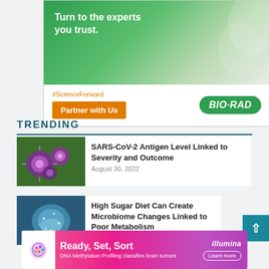[Figure (advertisement): Bio-Rad advertisement with green background showing scientist, text 'Turn to the experts you trust.', hashtag #ScienceForward, 'Partner with Us' orange button, and Bio-Rad green logo]
TRENDING
[Figure (photo): Microscope image of SARS-CoV-2 virus particles on green/purple background]
SARS-CoV-2 Antigen Level Linked to Severity and Outcome
August 30, 2022
[Figure (photo): Illustration of human gut/intestine with blue and sparkly appearance]
High Sugar Diet Can Create Microbiome Changes Linked to Poor Metabolism
August 30, 2022
[Figure (advertisement): Illumina advertisement with pink/magenta gradient, brain image, text 'Ready, Set, Sort', 'DNA Methylation Profiling classifies brain tumors', 'Learn more' button, illumina logo]